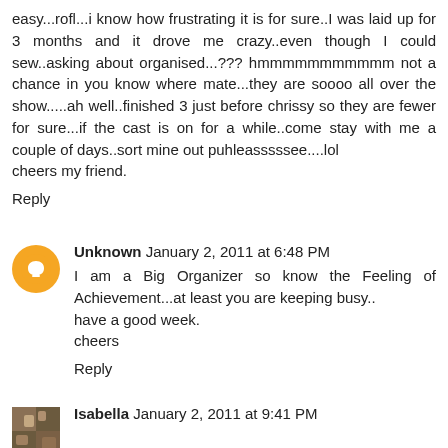easy...rofl...i know how frustrating it is for sure..I was laid up for 3 months and it drove me crazy..even though I could sew..asking about organised...??? hmmmmmmmmmmm not a chance in you know where mate...they are soooo all over the show.....ah well..finished 3 just before chrissy so they are fewer for sure...if the cast is on for a while..come stay with me a couple of days..sort mine out puhleasssssee....lol
cheers my friend.
Reply
Unknown January 2, 2011 at 6:48 PM
I am a Big Organizer so know the Feeling of Achievement...at least you are keeping busy..
have a good week.
cheers
Reply
Isabella January 2, 2011 at 9:41 PM